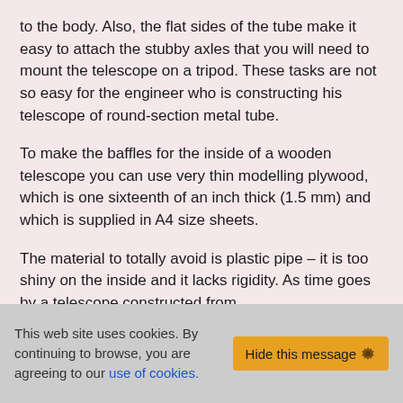to the body. Also, the flat sides of the tube make it easy to attach the stubby axles that you will need to mount the telescope on a tripod. These tasks are not so easy for the engineer who is constructing his telescope of round-section metal tube.
To make the baffles for the inside of a wooden telescope you can use very thin modelling plywood, which is one sixteenth of an inch thick (1.5 mm) and which is supplied in A4 size sheets.
The material to totally avoid is plastic pipe – it is too shiny on the inside and it lacks rigidity. As time goes by a telescope constructed from
This web site uses cookies. By continuing to browse, you are agreeing to our use of cookies.